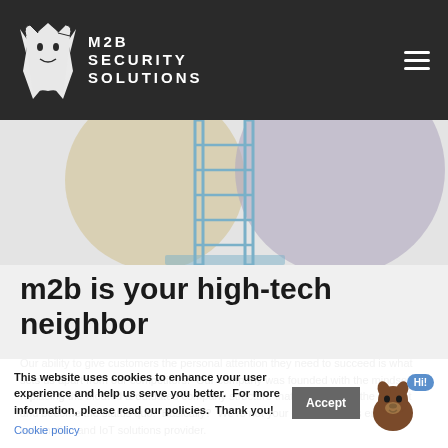M2B Security Solutions
[Figure (illustration): Hero illustration with abstract pastel circles (tan/beige and muted purple) and a wireframe/line-art ladder against a light gray background]
m2b is your high-tech neighbor
Our ability to give customers the personal attention they need to succeed is what sets us apart from our competitors.  Our company was founded with the mindset of replacing the bloated & outdated company structure that's permeated the market and become the status quo.  Basically?  We're not your grandmother's enterprise automation and IoT solutions provider.
This website uses cookies to enhance your user experience and help us serve you better.  For more information, please read our policies.  Thank you!
Cookie policy